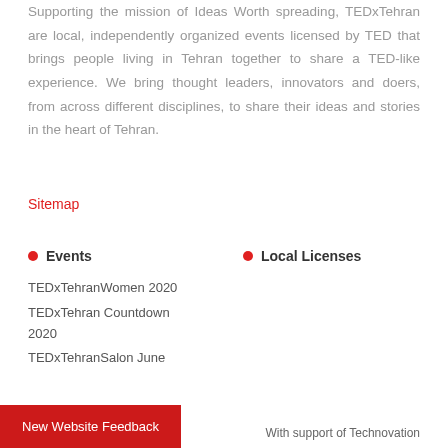Supporting the mission of Ideas Worth spreading, TEDxTehran are local, independently organized events licensed by TED that brings people living in Tehran together to share a TED-like experience. We bring thought leaders, innovators and doers, from across different disciplines, to share their ideas and stories in the heart of Tehran.
Sitemap
Events
Local Licenses
TEDxTehranWomen 2020
TEDxTehran Countdown 2020
TEDxTehranSalon June
New Website Feedback
With support of Technovation